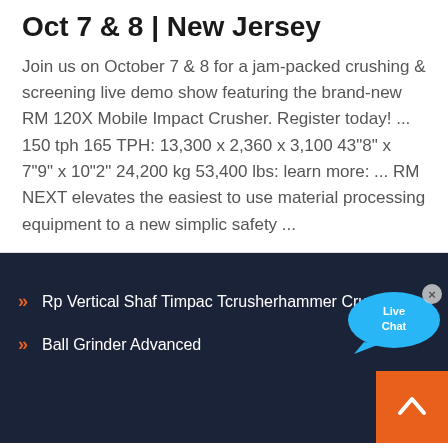Oct 7 & 8 | New Jersey
Join us on October 7 & 8 for a jam-packed crushing & screening live demo show featuring the brand-new RM 120X Mobile Impact Crusher. Register today! ... 150 tph 165 TPH: 13,300 x 2,360 x 3,100 43"8" x 7"9" x 10"2" 24,200 kg 53,400 lbs: learn more: ... RM NEXT elevates the easiest to use material processing equipment to a new simplicity safety ...
[Figure (other): Live Chat speech bubble overlay in blue with 'Live Chat' text and an X close button]
Rp Vertical Shaf Timpac Tcrusherhammer Crusher
Ball Grinder Advanced